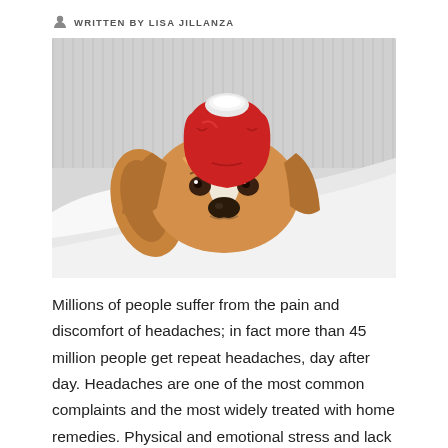WRITTEN BY LISA JILLANZA
[Figure (photo): A beagle dog lying in bed with a red ice pack/hot water bottle on its head, resting on a white pillow under white covers, looking unwell.]
Millions of people suffer from the pain and discomfort of headaches; in fact more than 45 million people get repeat headaches, day after day. Headaches are one of the most common complaints and the most widely treated with home remedies. Physical and emotional stress and lack of sleep are common triggers for headaches but there can be an array of reasons why you're constantly getting